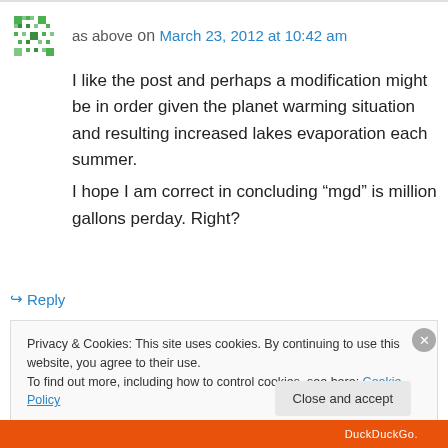as above on March 23, 2012 at 10:42 am
I like the post and perhaps a modification might be in order given the planet warming situation and resulting increased lakes evaporation each summer.
I hope I am correct in concluding “mgd” is million gallons perday. Right?
↳ Reply
Privacy & Cookies: This site uses cookies. By continuing to use this website, you agree to their use.
To find out more, including how to control cookies, see here: Cookie Policy
Close and accept